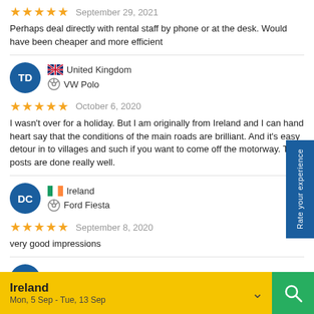Perhaps deal directly with rental staff by phone or at the desk. Would have been cheaper and more efficient
TD · United Kingdom · VW Polo
★★★★★  October 6, 2020
I wasn't over for a holiday. But I am originally from Ireland and I can hand heart say that the conditions of the main roads are brilliant. And it's easy detour in to villages and such if you want to come off the motorway. The posts are done really well.
DC · Ireland · Ford Fiesta
★★★★★  September 8, 2020
very good impressions
DS · Ireland
Ireland
Mon, 5 Sep - Tue, 13 Sep